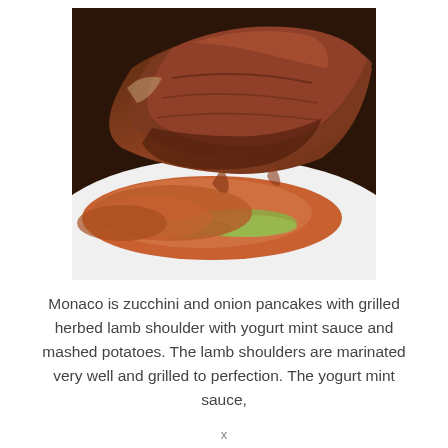[Figure (photo): Close-up photo of a plated dish showing grilled herbed lamb shoulder served over zucchini and onion pancakes on a white plate, with visible zucchini slices and browned meat.]
Monaco is zucchini and onion pancakes with grilled herbed lamb shoulder with yogurt mint sauce and mashed potatoes. The lamb shoulders are marinated very well and grilled to perfection. The yogurt mint sauce,
x